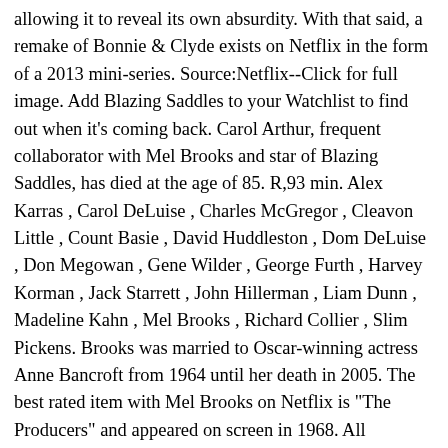allowing it to reveal its own absurdity. With that said, a remake of Bonnie & Clyde exists on Netflix in the form of a 2013 mini-series. Source:Netflix--Click for full image. Add Blazing Saddles to your Watchlist to find out when it's coming back. Carol Arthur, frequent collaborator with Mel Brooks and star of Blazing Saddles, has died at the age of 85. R,93 min. Alex Karras , Carol DeLuise , Charles McGregor , Cleavon Little , Count Basie , David Huddleston , Dom DeLuise , Don Megowan , Gene Wilder , George Furth , Harvey Korman , Jack Starrett , John Hillerman , Liam Dunn , Madeline Kahn , Mel Brooks , Richard Collier , Slim Pickens. Brooks was married to Oscar-winning actress Anne Bancroft from 1964 until her death in 2005. The best rated item with Mel Brooks on Netflix is "The Producers" and appeared on screen in 1968. All promotional material including but not limited to trailers, images, logo's and videos are all copyright to their respective owners. NetflixReleases is an unofficial site for Netflix fans. Reverend Johnson: Oh Lord!